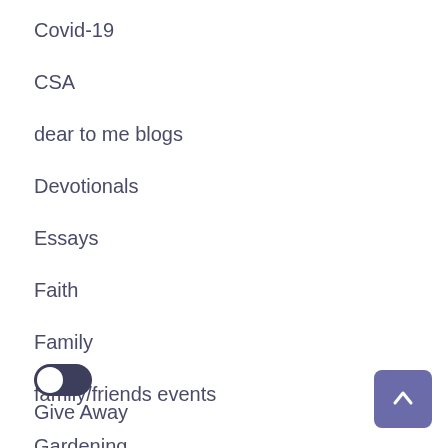Covid-19
CSA
dear to me blogs
Devotionals
Essays
Faith
Family
family/friends events
Gardening
Give Away